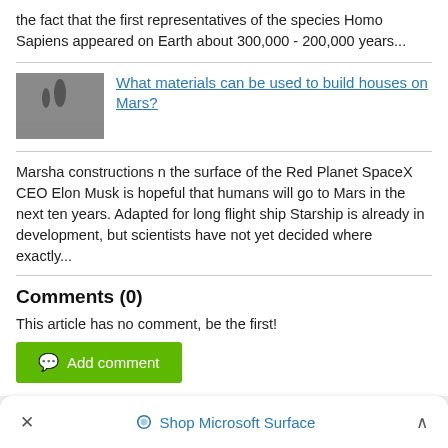the fact that the first representatives of the species Homo Sapiens appeared on Earth about 300,000 - 200,000 years...
What materials can be used to build houses on Mars?
Marsha constructions n the surface of the Red Planet SpaceX CEO Elon Musk is hopeful that humans will go to Mars in the next ten years. Adapted for long flight ship Starship is already in development, but scientists have not yet decided where exactly...
Comments (0)
This article has no comment, be the first!
Add comment
Shop Microsoft Surface